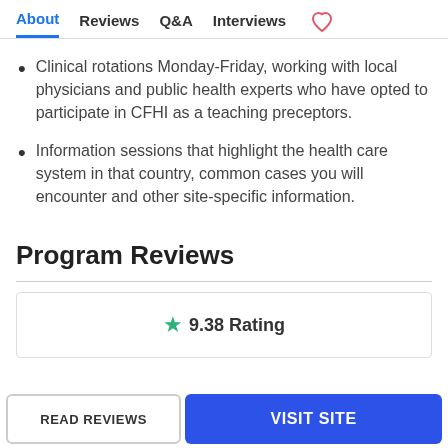About  Reviews  Q&A  Interviews
Clinical rotations Monday-Friday, working with local physicians and public health experts who have opted to participate in CFHI as a teaching preceptors.
Information sessions that highlight the health care system in that country, common cases you will encounter and other site-specific information.
Program Reviews
9.38 Rating
READ REVIEWS
VISIT SITE